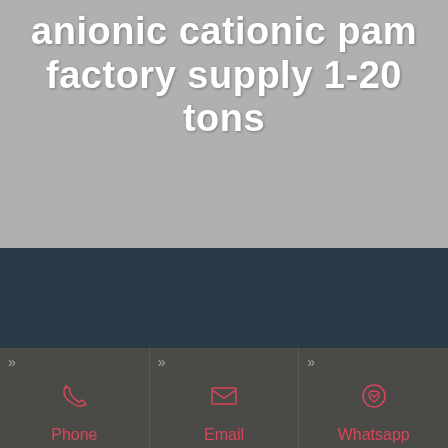anionic cationic pam factory supply 1-20 tons
water treatment
Phone
Email
Whatsapp